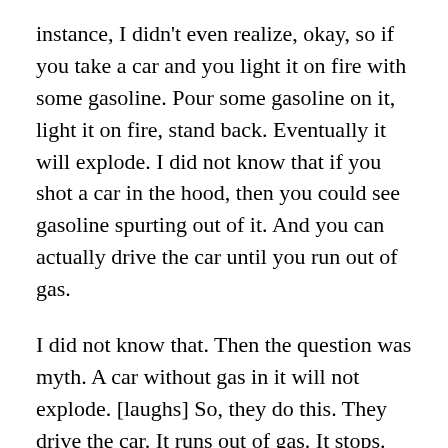instance, I didn't even realize, okay, so if you take a car and you light it on fire with some gasoline. Pour some gasoline on it, light it on fire, stand back. Eventually it will explode. I did not know that if you shot a car in the hood, then you could see gasoline spurting out of it. And you can actually drive the car until you run out of gas.
I did not know that. Then the question was myth. A car without gas in it will not explode. [laughs] So, they do this. They drive the car. It runs out of gas. It stops. They get out. They pour gasoline on top of the car. Light the car on fire and sit back. It does not explode.
John: Now, Craig, the crucial question which every